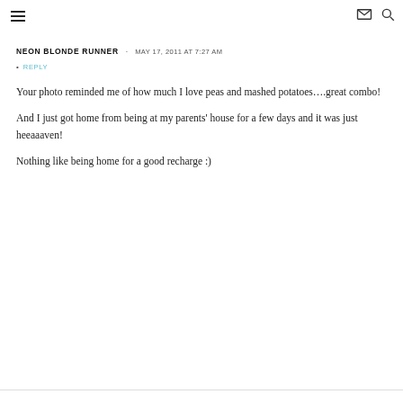≡  ✉  🔍
NEON BLONDE RUNNER · MAY 17, 2011 AT 7:27 AM
• REPLY
Your photo reminded me of how much I love peas and mashed potatoes….great combo!
And I just got home from being at my parents' house for a few days and it was just heeaaaven!
Nothing like being home for a good recharge :)